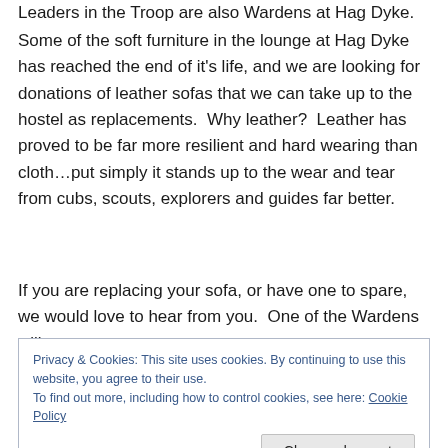Leaders in the Troop are also Wardens at Hag Dyke.
Some of the soft furniture in the lounge at Hag Dyke has reached the end of it's life, and we are looking for donations of leather sofas that we can take up to the hostel as replacements.  Why leather?  Leather has proved to be far more resilient and hard wearing than cloth…put simply it stands up to the wear and tear from cubs, scouts, explorers and guides far better.
If you are replacing your sofa, or have one to spare, we would love to hear from you.  One of the Wardens will
Privacy & Cookies: This site uses cookies. By continuing to use this website, you agree to their use.
To find out more, including how to control cookies, see here: Cookie Policy
Close and accept